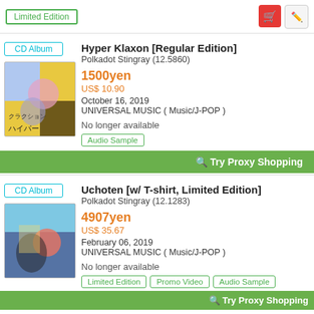Limited Edition
[Figure (other): Shopping cart icon (red button) and pen/edit icon]
CD Album
[Figure (photo): Album cover for Hyper Klaxon Regular Edition by Polkadot Stingray - anime-style illustration]
Hyper Klaxon [Regular Edition]
Polkadot Stingray (12.5860)
1500yen
US$ 10.90
October 16, 2019
UNIVERSAL MUSIC ( Music/J-POP )
No longer available
Audio Sample
🔍 Try Proxy Shopping
CD Album
[Figure (photo): Album cover for Uchoten w/ T-shirt Limited Edition by Polkadot Stingray]
Uchoten [w/ T-shirt, Limited Edition]
Polkadot Stingray (12.1283)
4907yen
US$ 35.67
February 06, 2019
UNIVERSAL MUSIC ( Music/J-POP )
No longer available
Limited Edition
Promo Video
Audio Sample
🔍 Try Proxy Shopping